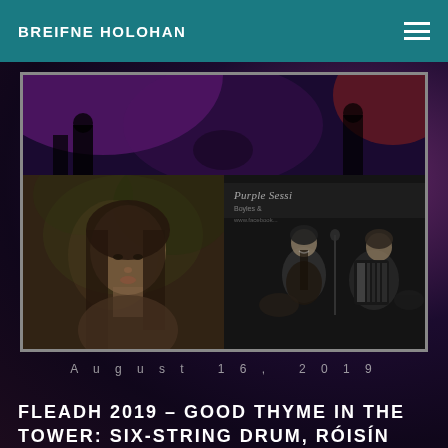BREIFNE HOLOHAN
[Figure (photo): Collage of three photos: top strip shows a dark stage/concert scene with purple and red lighting; bottom left shows a portrait of a woman with long dark hair in a natural/outdoor setting; bottom right is a black-and-white photo of musicians performing at an event with 'Purple Sessions, Boyles' text visible in background]
August 16, 2019
FLEADH 2019 – GOOD THYME IN THE TOWER: SIX-STRING DRUM, RÓISÍN WARD MORROW, UISNEACH